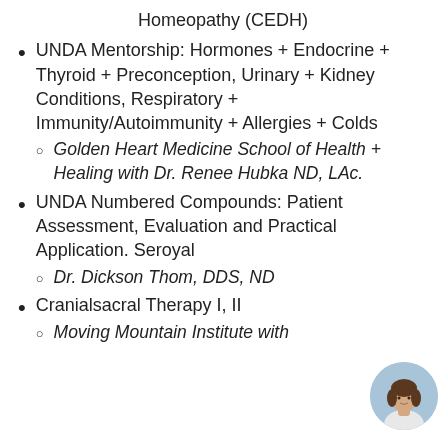Homeopathy (CEDH)
UNDA Mentorship: Hormones + Endocrine + Thyroid + Preconception, Urinary + Kidney Conditions, Respiratory + Immunity/Autoimmunity + Allergies + Colds
Golden Heart Medicine School of Health + Healing with Dr. Renee Hubka ND, LAc.
UNDA Numbered Compounds: Patient Assessment, Evaluation and Practical Application. Seroyal
Dr. Dickson Thom, DDS, ND
Cranialsacral Therapy I, II
Moving Mountain Institute with
[Figure (photo): Circular photo of a woman with brown hair, wearing a white top, positioned in the bottom right corner of the page. Background is light blue.]